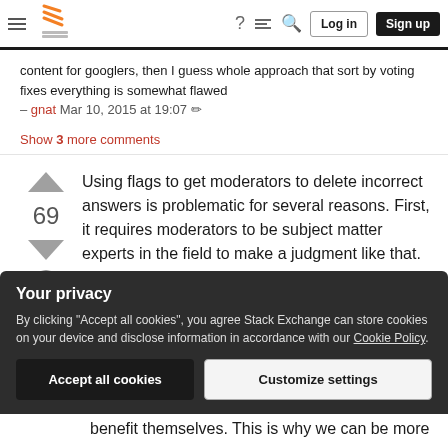Stack Exchange navigation bar with hamburger menu, logo, help, chat, search icons, Log in and Sign up buttons
content for googlers, then I guess whole approach that sort by voting fixes everything is somewhat flawed – gnat Mar 10, 2015 at 19:07
Show 3 more comments
Using flags to get moderators to delete incorrect answers is problematic for several reasons. First, it requires moderators to be subject matter experts in the field to make a judgment like that. We can't possibly have enough moderators to cover every technology on this site.
Your privacy
By clicking "Accept all cookies", you agree Stack Exchange can store cookies on your device and disclose information in accordance with our Cookie Policy.
Accept all cookies  Customize settings
benefit themselves. This is why we can be more